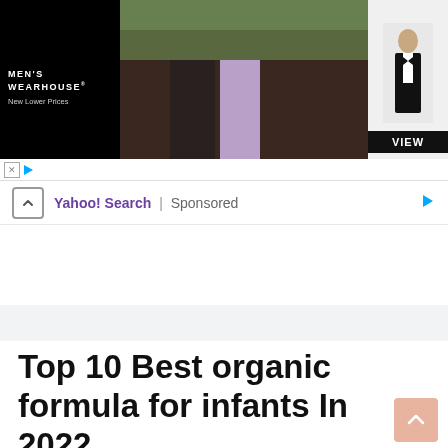[Figure (screenshot): Men's Wearhouse advertisement banner showing a couple in formal wear and a man in a tuxedo with a VIEW button, on black background]
Yahoo! Search | Sponsored
Top 10 Best organic formula for infants In 2022
May 16, 2022 by Heavener